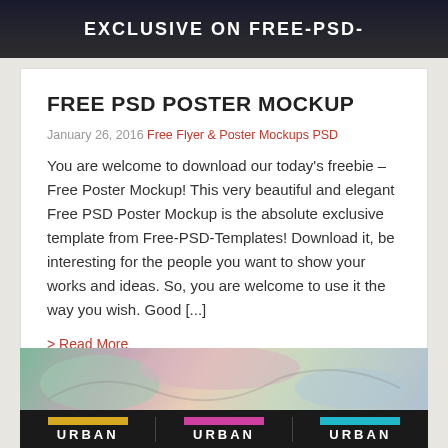[Figure (photo): Dark banner image with text 'EXCLUSIVE ON FREE-PSD-TEMPLATES.COM' in white bold letters on dark background with pink accent]
FREE PSD POSTER MOCKUP
January 26, 2016 Free Flyer & Poster Mockups PSD
You are welcome to download our today's freebie – Free Poster Mockup! This very beautiful and elegant Free PSD Poster Mockup is the absolute exclusive template from Free-PSD-Templates! Download it, be interesting for the people you want to show your works and ideas. So, you are welcome to use it the way you wish. Good [...]
> Read More
[Figure (photo): Bottom image showing graffiti wall with urban mockup poster display featuring three columns labeled URBAN with color bars in yellow, pink, and teal]